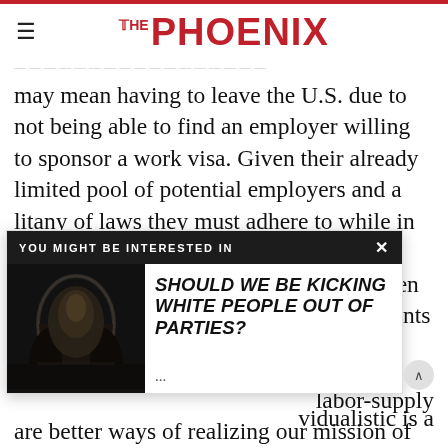THE PHOENIX
may mean having to leave the U.S. due to not being able to find an employer willing to sponsor a work visa. Given their already limited pool of potential employers and a litany of laws they must adhere to while in the U.S., being picky is not a luxury international students can afford. It is often the big firms who hire international students and not everyone's favorite non- ...labor-supply ...vidualistic is a ...avoid. There are better ways of realizing our mission of
[Figure (screenshot): Popup overlay widget: 'YOU MIGHT BE INTERESTED IN' with article preview titled 'SHOULD WE BE KICKING WHITE PEOPLE OUT OF PARTIES?' with a dark photo of arched corridor]